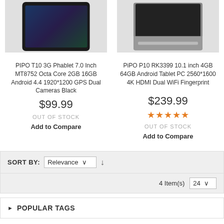[Figure (photo): PIPO T10 tablet product image showing device with gaming screen]
[Figure (photo): PiPO P10 tablet with keyboard cover product image]
PIPO T10 3G Phablet 7.0 Inch MT8752 Octa Core 2GB 16GB Android 4.4 1920*1200 GPS Dual Cameras Black
$99.99
OUT OF STOCK
Add to Compare
PiPO P10 RK3399 10.1 inch 4GB 64GB Android Tablet PC 2560*1600 4K HDMI Dual WiFi Fingerprint
$239.99
★★★★★
OUT OF STOCK
Add to Compare
SORT BY: Relevance ↓
4 Item(s) 24
▶ POPULAR TAGS